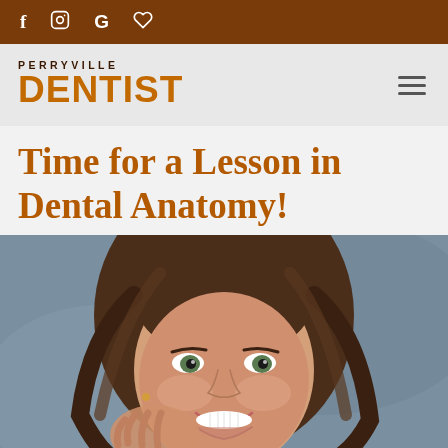f  IG  G  b
[Figure (logo): Perryville DENTIST logo with tagline text above in dark brown and DENTIST in large orange bold letters]
Time for a Lesson in Dental Anatomy!
[Figure (photo): Close-up portrait of a smiling young woman with brown hair, green eyes, and a bright smile, touching her neck/jaw area with her hand]